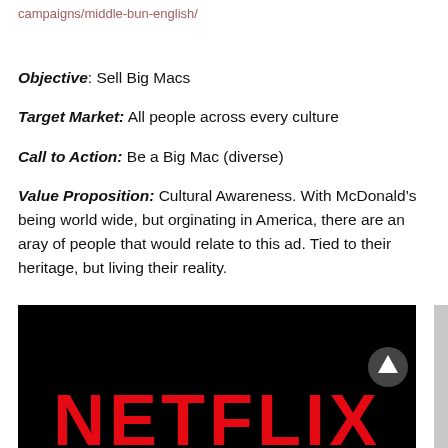campaigns/middle-bun-english/
Objective: Sell Big Macs
Target Market: All people across every culture
Call to Action: Be a Big Mac (diverse)
Value Proposition: Cultural Awareness. With McDonald’s being world wide, but orginating in America, there are an aray of people that would relate to this ad. Tied to their heritage, but living their reality.
[Figure (screenshot): Black background with Netflix logo text in red at the bottom, and a scroll-up arrow button visible on the right side]